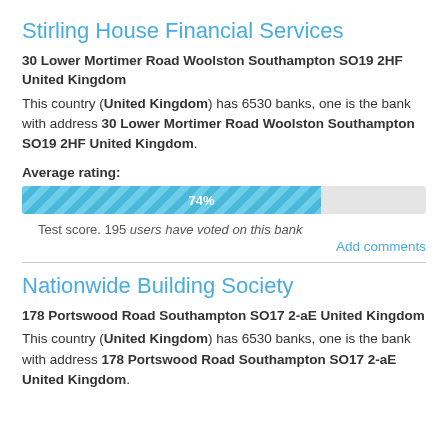Stirling House Financial Services
30 Lower Mortimer Road Woolston Southampton SO19 2HF United Kingdom
This country (United Kingdom) has 6530 banks, one is the bank with address 30 Lower Mortimer Road Woolston Southampton SO19 2HF United Kingdom.
Average rating:
[Figure (bar-chart): Average rating bar]
Test score. 195 users have voted on this bank
Add comments
Nationwide Building Society
178 Portswood Road Southampton SO17 2-aE United Kingdom
This country (United Kingdom) has 6530 banks, one is the bank with address 178 Portswood Road Southampton SO17 2-aE United Kingdom.